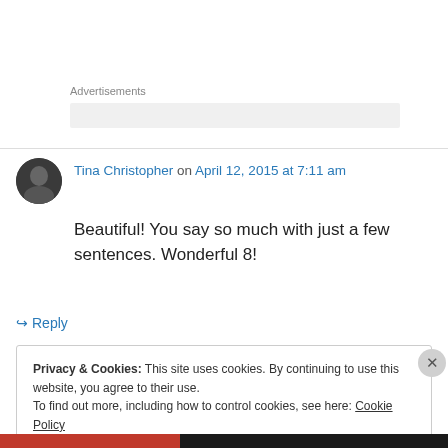Advertisements
Tina Christopher on April 12, 2015 at 7:11 am
Beautiful! You say so much with just a few sentences. Wonderful 8!
↳ Reply
Privacy & Cookies: This site uses cookies. By continuing to use this website, you agree to their use.
To find out more, including how to control cookies, see here: Cookie Policy